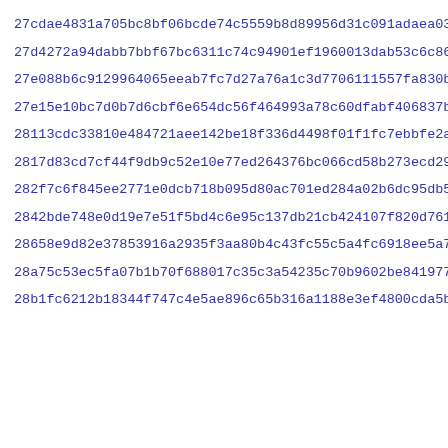27cdae4831a705bc8bf06bcde74c5559b8d89956d31c091adaea033d817b0
27d4272a94dabb7bbf67bc6311c74c94901ef1960013dab53c6c86d3c7f8b
27e088b6c9129964065eeab7fc7d27a76a1c3d7706111557fa830b1561952
27e15e10bc7d0b7d6cbf6e654dc56f464993a78c60dfabf406837b654f1fe
28113cdc33810e484721aee142be18f336d4498f01f1fc7ebbfe2acceb0ed
2817d83cd7cf44f9db9c52e10e77ed264376bc066cd58b273ecd29ab5991a
282f7c6f845ee2771e0dcb718b095d80ac701ed284a02b6dc95db5f5c5bb5
2842bde748e0d19e7e51f5bd4c6e95c137db21cb424107f820d7616d72bd5
28658e9d82e37853916a2935f3aa80b4c43fc55c5a4fc6918ee5a747d707e
28a75c53ec5fa07b1b70f688017c35c3a54235c70b9602be8419772096938
28b1fc6212b18344f747c4e5ae896c65b316a1188e3ef4800cda5be39405b